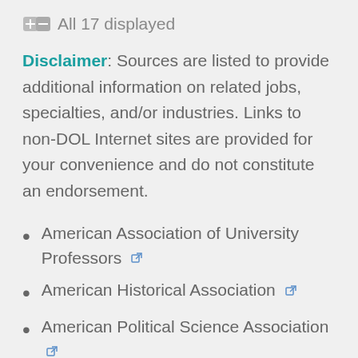All 17 displayed
Disclaimer: Sources are listed to provide additional information on related jobs, specialties, and/or industries. Links to non-DOL Internet sites are provided for your convenience and do not constitute an endorsement.
American Association of University Professors
American Historical Association
American Political Science Association
Association for Slavic, East European,